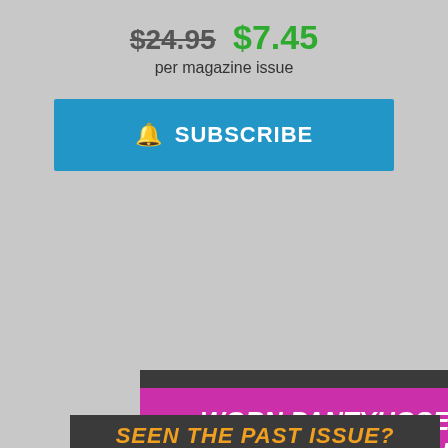$24.95 $7.45 per magazine issue
SUBSCRIBE
[Figure (infographic): Magazine subscription advertisement block with magenta banner reading 'WORN PANTYHOSE FROM THE MAGAZINE', orange button reading 'EXPLORE PANTYHOSE COLLECTION' with arrow and circular photo of a smiling woman, and bottom text 'SEEN THE PAST ISSUE?']
SEEN THE PAST ISSUE?